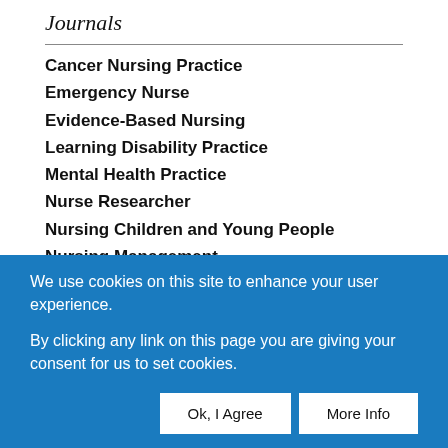Journals
Cancer Nursing Practice
Emergency Nurse
Evidence-Based Nursing
Learning Disability Practice
Mental Health Practice
Nurse Researcher
Nursing Children and Young People
Nursing Management
We use cookies on this site to enhance your user experience.
By clicking any link on this page you are giving your consent for us to set cookies.